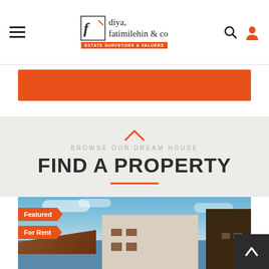diya, fatimilehin & co — ESTATE SURVEYORS & VALUERS
[Figure (screenshot): Orange banner/hero strip below navigation]
BROWSE OUR DREAM HOUSE
FIND A PROPERTY
[Figure (photo): Property photo showing white multi-storey building with brown roof tiles against blue sky, labeled Featured and For Rent]